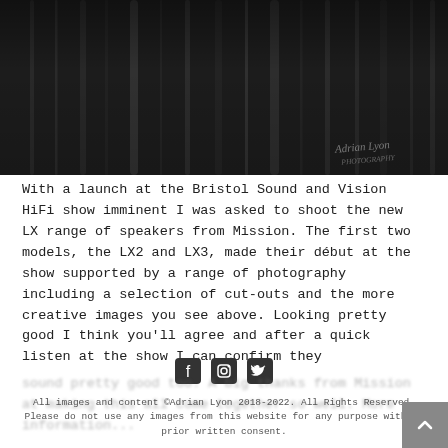[Figure (photo): Dark abstract close-up photograph of speaker fabric or grille material with vertical lines/folds, black and grey tones, with a cursive watermark 'Adrian Lyon Photography' in bottom right]
With a launch at the Bristol Sound and Vision HiFi show imminent I was asked to shoot the new LX range of speakers from Mission. The first two models, the LX2 and LX3, made their début at the show supported by a range of photography including a selection of cut-outs and the more creative images you see above. Looking pretty good I think you'll agree and after a quick listen at the show I can confirm they
[Figure (other): Social media icons: Facebook, Instagram, Twitter]
sound pretty good too. A big thanks from Mission at making this all come together so well. More information...
All images and content ©Adrian Lyon 2018-2022. All Rights Reserved. Please do not use any images from this website for any purpose without prior written consent.